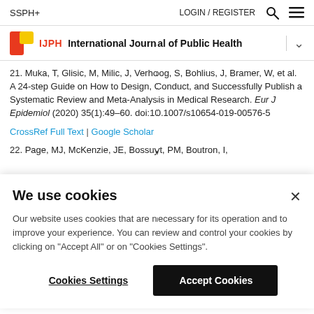SSPH+    LOGIN / REGISTER  🔍  ≡
IJPH  International Journal of Public Health
21. Muka, T, Glisic, M, Milic, J, Verhoog, S, Bohlius, J, Bramer, W, et al. A 24-step Guide on How to Design, Conduct, and Successfully Publish a Systematic Review and Meta-Analysis in Medical Research. Eur J Epidemiol (2020) 35(1):49–60. doi:10.1007/s10654-019-00576-5
CrossRef Full Text | Google Scholar
22. Page, MJ, McKenzie, JE, Bossuyt, PM, Boutron, I,
We use cookies
Our website uses cookies that are necessary for its operation and to improve your experience. You can review and control your cookies by clicking on "Accept All" or on "Cookies Settings".
Cookies Settings
Accept Cookies